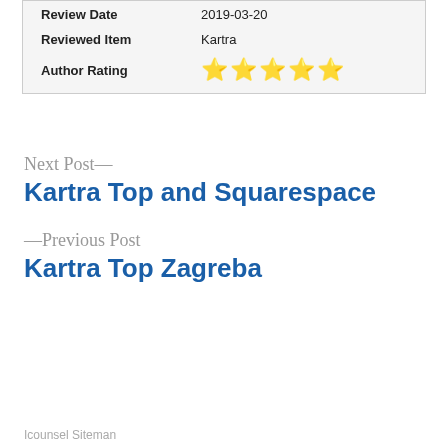| Review Date | 2019-03-20 |
| Reviewed Item | Kartra |
| Author Rating | ★★★★★ |
Next Post—
Kartra Top and Squarespace
—Previous Post
Kartra Top Zagreba
Icounsel Siteman